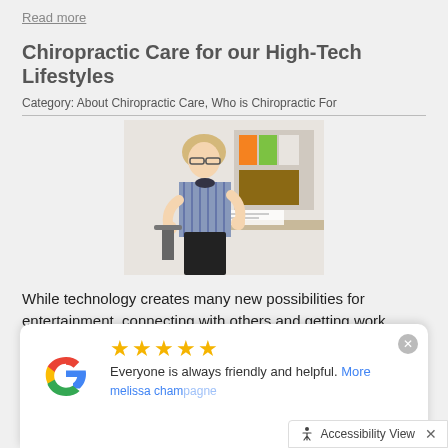Read more
Chiropractic Care for our High-Tech Lifestyles
Category: About Chiropractic Care, Who is Chiropractic For
[Figure (photo): Woman in office setting holding her back in pain, wearing glasses and a striped top, at a desk with papers]
While technology creates many new possibilities for entertainment, connecting with others and getting work done, it also spawns new health problems. Ten years ago, nobody had “text neck.” Now many people are reaping the unwanted musculoskeletal consequences of tech overuse. “Text Neck”
Everyone is always friendly and helpful. More
melissa cham...